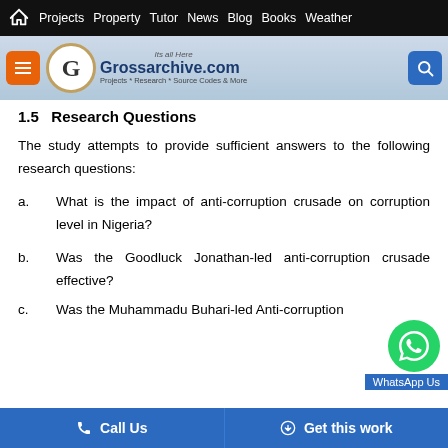Projects  Property  Tutor  News  Blog  Books  Weather
[Figure (logo): Grossarchive.com logo with navigation header — Its all Here, Projects * Research * Source Codes & More]
1.5   Research Questions
The study attempts to provide sufficient answers to the following research questions:
a.   What is the impact of anti-corruption crusade on corruption level in Nigeria?
b.   Was the Goodluck Jonathan-led anti-corruption crusade effective?
c.   Was the Muhammadu Buhari-led Anti-corruption...
Call Us    Get this work